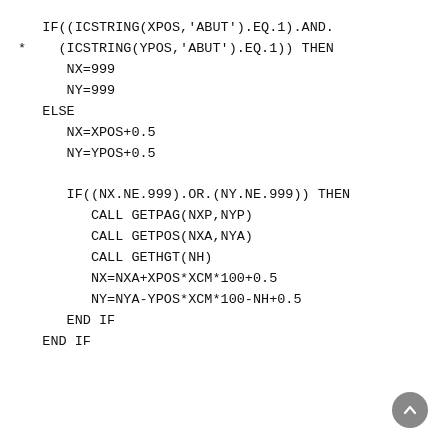IF((ICSTRING(XPOS,'ABUT').EQ.1).AND.
*    (ICSTRING(YPOS,'ABUT').EQ.1)) THEN
      NX=999
      NY=999
   ELSE
      NX=XPOS+0.5
      NY=YPOS+0.5

      IF((NX.NE.999).OR.(NY.NE.999)) THEN
         CALL GETPAG(NXP,NYP)
         CALL GETPOS(NXA,NYA)
         CALL GETHGT(NH)
         NX=NXA+XPOS*XCM*100+0.5
         NY=NYA-YPOS*XCM*100-NH+0.5
      END IF
   END IF